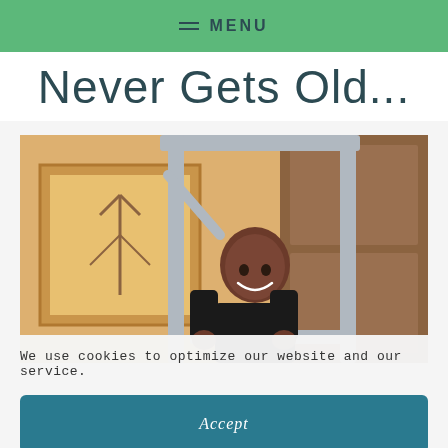≡ MENU
Never Gets Old...
[Figure (photo): A smiling young boy in a black shirt interacting with a metal lift/hoist device in a room with wooden door and framed wall art]
We use cookies to optimize our website and our service.
Accept
Disclosures